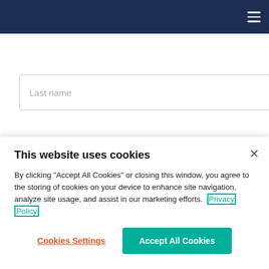[Figure (screenshot): Dark navy blue navigation bar with hamburger menu icon on the right]
Last name
– Country of Residence –
Email
Subscribe
This website uses cookies
By clicking "Accept All Cookies" or closing this window, you agree to the storing of cookies on your device to enhance site navigation, analyze site usage, and assist in our marketing efforts. Privacy Policy
Cookies Settings
Accept All Cookies